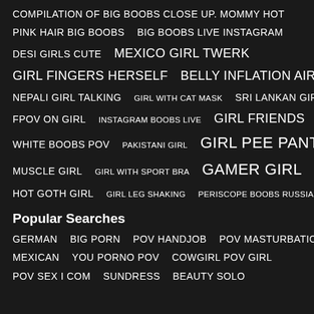COMPILATION OF BIG BOOBS CLOSE UP. MOMMY HOT
PINK HAIR BIG BOOBS   BIG BOOBS LIVE INSTAGRAM
DESI GIRLS CUTE   MEXICO GIRL TWERK
GIRL FINGERS HERSELF   BELLY INFLATION AIR GIRL
NEPALI GIRL TALKING   GIRL WITH CAT MASK   SRI LANKAN GIRL
FPOV ON GIRL   INSTAGRAM BOOBS LIVE   GIRL FRIENDS
WHITE BOOBS POV   PAKISTANI GIRL   GIRL PEE PANTS
MUSCLE GIRL   GIRL WITH SPORT BRA   GAMER GIRL
HOT GOTH GIRL   GIRL LEG SHAKING   PERISCOPE BOOBS RUSSIAN
Popular Searches
GERMAN   BIG PORN   POV HANDJOB   POV MASTURBATION
MEXICAN   YOU PORNO POV   COWGIRL POV GIRL
POV SEX I COM   SUNDRESS   BEAUTY SOLO